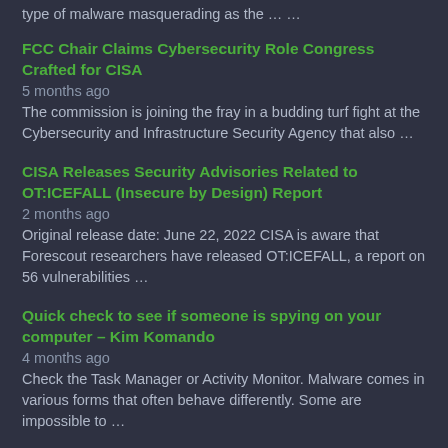type of malware masquerading as the … …
FCC Chair Claims Cybersecurity Role Congress Crafted for CISA
5 months ago
The commission is joining the fray in a budding turf fight at the Cybersecurity and Infrastructure Security Agency that also …
CISA Releases Security Advisories Related to OT:ICEFALL (Insecure by Design) Report
2 months ago
Original release date: June 22, 2022 CISA is aware that Forescout researchers have released OT:ICEFALL, a report on 56 vulnerabilities …
Quick check to see if someone is spying on your computer – Kim Komando
4 months ago
Check the Task Manager or Activity Monitor. Malware comes in various forms that often behave differently. Some are impossible to …